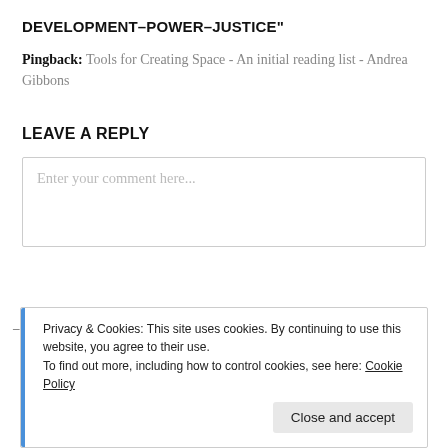DEVELOPMENT–POWER–JUSTICE"
Pingback: Tools for Creating Space - An initial reading list - Andrea Gibbons
LEAVE A REPLY
Enter your comment here...
Privacy & Cookies: This site uses cookies. By continuing to use this website, you agree to their use.
To find out more, including how to control cookies, see here: Cookie Policy